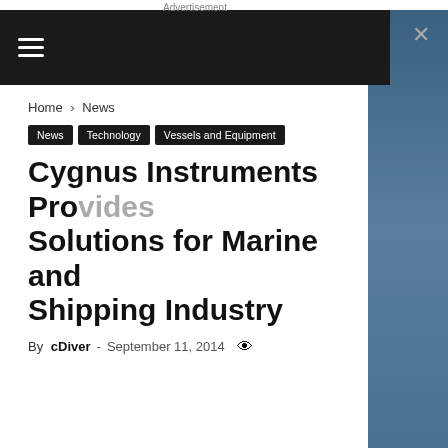Advertisement
Home › News
News
Technology
Vessels and Equipment
Cygnus Instruments Provides Solutions for Marine and Shipping Industry
By cDiver - September 11, 2014
In the marine and shipping industry, where steel cor... a constant challenge, Cygnus ultrasonic thickness g... play a major role in providing a solution to this cha...